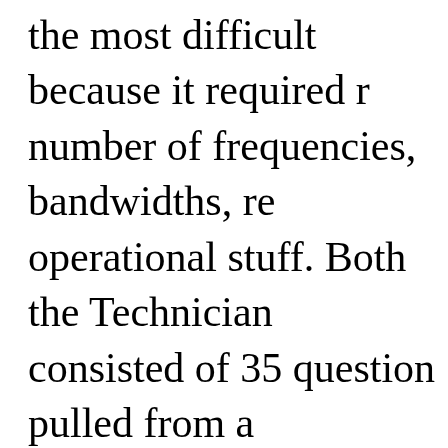the most difficult because it required number of frequencies, bandwidths, re operational stuff. Both the Technician consisted of 35 question pulled from a around 600. The Extra exam had 50 qu pool of around 725. A minimum passi to all three. For each test, I read the A cover to cover, and then reviewed the least half a dozen times, until I was co